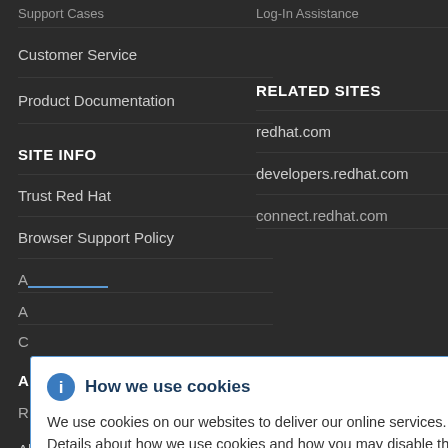Support Cases
Log-in Assistance
Customer Service
Product Documentation
SITE INFO
RELATED SITES
Trust Red Hat
redhat.com
Browser Support Policy
developers.redhat.com
Accessibility
connect.redhat.com
About Red Hat
[Figure (screenshot): Cookie consent modal dialog with 'How we use cookies' header, info icon, close button (×), and body text explaining cookie usage with a Privacy Statement link.]
We use cookies on our websites to deliver our online services. Details about how we use cookies and how you may disable them are set out in our Privacy Statement. By using this website you agree to our use of cookies.